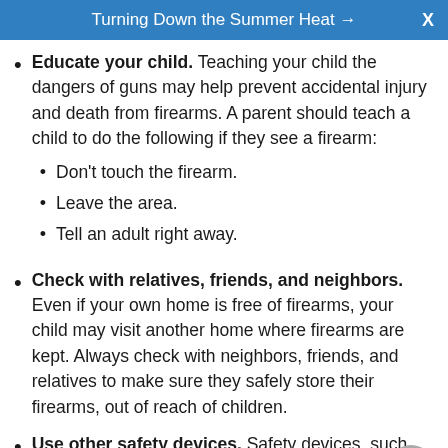Turning Down the Summer Heat → X
Educate your child. Teaching your child the dangers of guns may help prevent accidental injury and death from firearms. A parent should teach a child to do the following if they see a firearm:
Don't touch the firearm.
Leave the area.
Tell an adult right away.
Check with relatives, friends, and neighbors. Even if your own home is free of firearms, your child may visit another home where firearms are kept. Always check with neighbors, friends, and relatives to make sure they safely store their firearms, out of reach of children.
Use other safety devices. Safety devices, such as